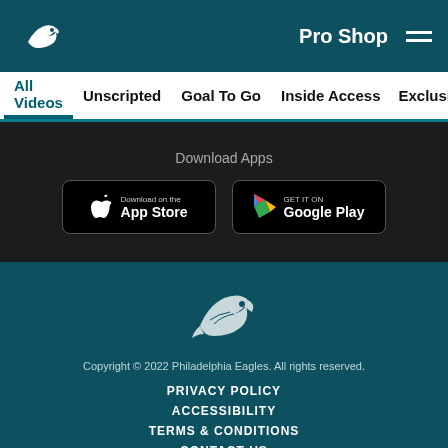Philadelphia Eagles website header with logo, Pro Shop link, and hamburger menu
All Videos | Unscripted | Goal To Go | Inside Access | Exclusive In...
Download Apps
[Figure (logo): Download on the App Store button]
[Figure (logo): Get it on Google Play button]
[Figure (logo): Philadelphia Eagles logo (footer)]
Copyright © 2022 Philadelphia Eagles. All rights reserved.
PRIVACY POLICY
ACCESSIBILITY
TERMS & CONDITIONS
CONTACT US